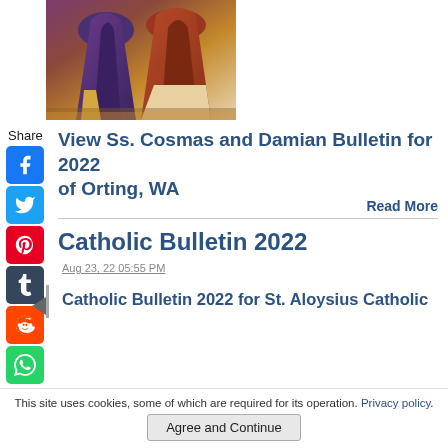[Figure (illustration): Partial view of a religious painting showing two robed figures, cropped at top]
Share
[Figure (other): Social media share icons: Facebook, Twitter, Pinterest, Tumblr, Reddit, WhatsApp]
View Ss. Cosmas and Damian Bulletin for 2022 of Orting, WA
Read More
Catholic Bulletin 2022
Aug 23, 22 05:55 PM
Catholic Bulletin 2022 for St. Aloysius Catholic
This site uses cookies, some of which are required for its operation. Privacy policy.
Agree and Continue